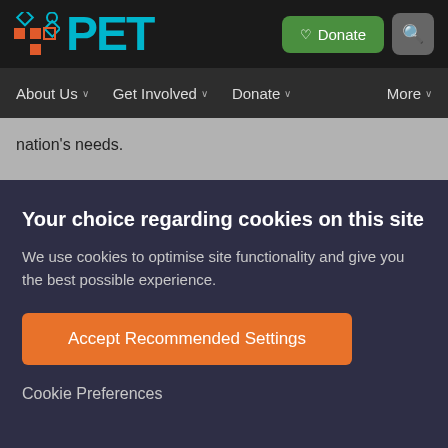[Figure (logo): PET organization logo with grid of diamond and square shapes in teal/red colors, with 'PET' text in teal, plus Donate and Search buttons in top navigation bar]
About Us   Get Involved   Donate   More
nation's needs.
Your choice regarding cookies on this site
We use cookies to optimise site functionality and give you the best possible experience.
Accept Recommended Settings
Cookie Preferences